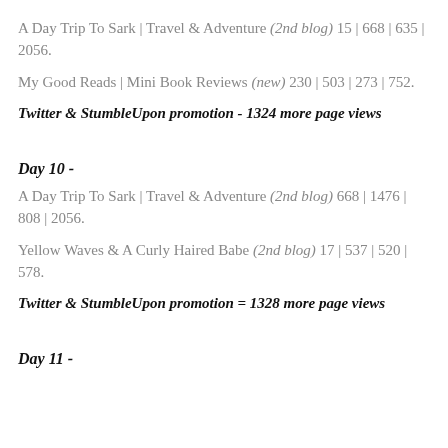A Day Trip To Sark | Travel & Adventure (2nd blog) 15 | 668 | 635 | 2056.
My Good Reads | Mini Book Reviews (new) 230 | 503 | 273 | 752.
Twitter & StumbleUpon promotion - 1324 more page views
Day 10 -
A Day Trip To Sark | Travel & Adventure (2nd blog) 668 | 1476 | 808 | 2056.
Yellow Waves & A Curly Haired Babe (2nd blog) 17 | 537 | 520 | 578.
Twitter & StumbleUpon promotion = 1328 more page views
Day 11 -